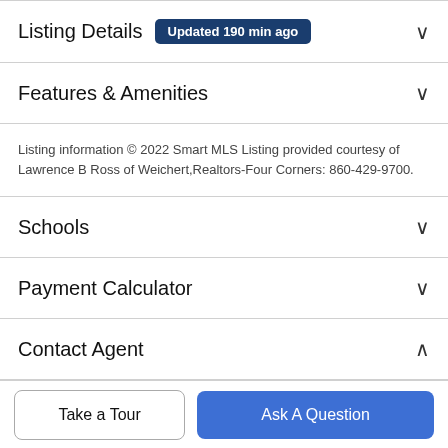Listing Details  Updated 190 min ago
Features & Amenities
Listing information © 2022 Smart MLS Listing provided courtesy of Lawrence B Ross of Weichert,Realtors-Four Corners: 860-429-9700.
Schools
Payment Calculator
Contact Agent
Take a Tour
Ask A Question